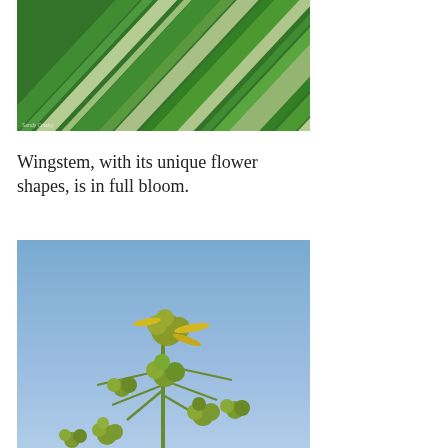[Figure (photo): Close-up photo of green grass or reed blades, diagonal lines of green and white/pale leaves, with a small photo credit watermark in the bottom left corner]
Wingstem, with its unique flower shapes, is in full bloom.
[Figure (photo): Photo of Wingstem plant with yellow-green flowers and buds against a blue sky background]